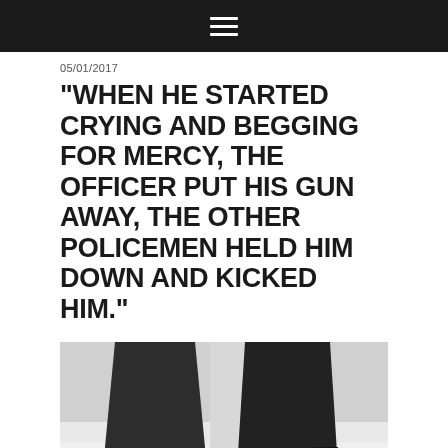≡
05/01/2017
"WHEN HE STARTED CRYING AND BEGGING FOR MERCY, THE OFFICER PUT HIS GUN AWAY, THE OTHER POLICEMEN HELD HIM DOWN AND KICKED HIM."
[Figure (photo): Close-up photo of two boots/legs standing on snowy ground, viewed from below or ground level. Dark pants and boots visible against a wintry background.]